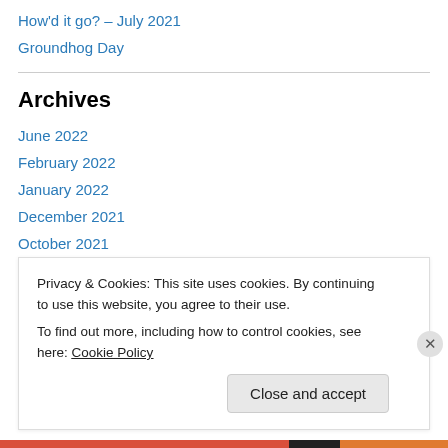How'd it go? – July 2021
Groundhog Day
Archives
June 2022
February 2022
January 2022
December 2021
October 2021
September 2021
July 2021
June 2021
Privacy & Cookies: This site uses cookies. By continuing to use this website, you agree to their use. To find out more, including how to control cookies, see here: Cookie Policy
Close and accept